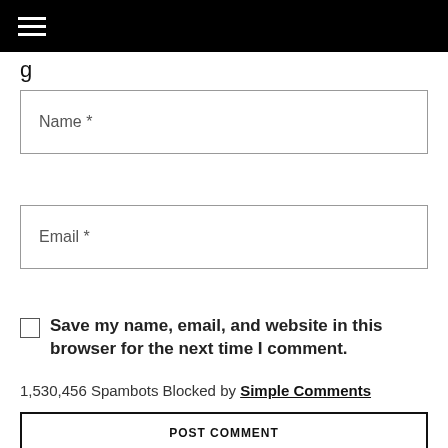g
Name *
Email *
Save my name, email, and website in this browser for the next time I comment.
1,530,456 Spambots Blocked by Simple Comments
POST COMMENT